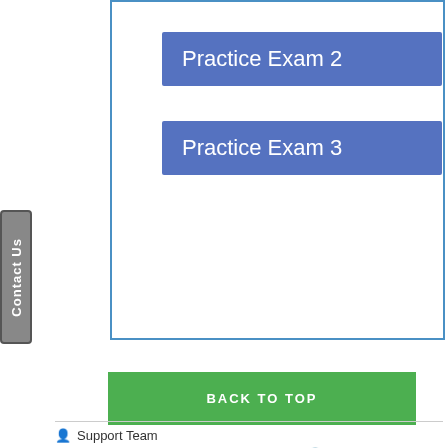[Figure (screenshot): Blue bordered content box with two Practice Exam buttons (Practice Exam 2 and Practice Exam 3) in blue/purple color]
Practice Exam 2
Practice Exam 3
Contact Us
BACK TO TOP
Support Team   December 17, 2018